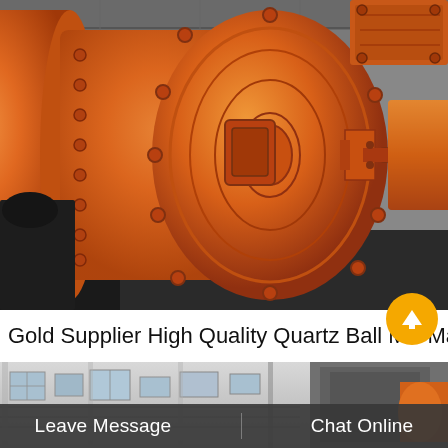[Figure (photo): Close-up photograph of a large industrial orange ball mill machine in a factory/workshop setting. The cylindrical drum and circular end plates with bolted flanges are visible, along with connecting shaft components.]
Gold Supplier High Quality Quartz Ball Mill Ma...
[Figure (photo): Partial photo of an industrial building exterior or workshop interior, partially obscured by the bottom toolbar. A small chat icon with 'Chat' label is visible overlaid on the image.]
Leave Message
Chat Online